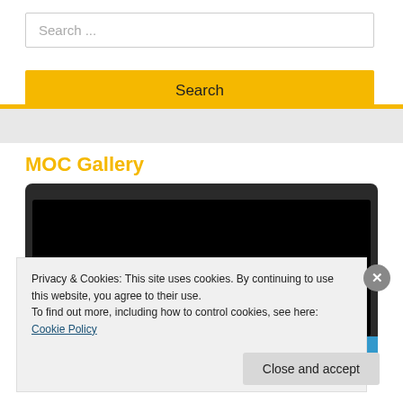Search ...
Search
MOC Gallery
[Figure (screenshot): A dark laptop/screen frame with black display area and a blue strip at the bottom, partially visible gallery image.]
Privacy & Cookies: This site uses cookies. By continuing to use this website, you agree to their use.
To find out more, including how to control cookies, see here: Cookie Policy
Close and accept